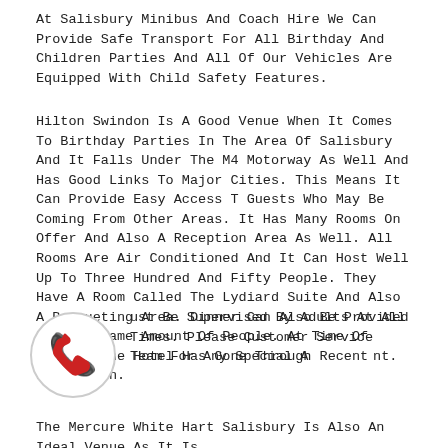At Salisbury Minibus And Coach Hire We Can Provide Safe Transport For All Birthday And Children Parties And All Of Our Vehicles Are Equipped With Child Safety Features.
Hilton Swindon Is A Good Venue When It Comes To Birthday Parties In The Area Of Salisbury And It Falls Under The M4 Motorway As Well And Has Good Links To Major Cities. This Means It Can Provide Easy Access T Guests Who May Be Coming From Other Areas. It Has Many Rooms On Offer And Also A Reception Area As Well. All Rooms Are Air Conditioned And It Can Host Well Up To Three Hundred And Fifty People. They Have A Room Called The Lydiard Suite And Also A Banqueting Area. Dinner Can Also Be Provided For The Same Amount Of People. At Time Of Writing The Hotel Has Gone Through Recent Renovation.
C[phone icon]ust Be Supervised By Adults At All Times. Please [phone icon]Customer Service Team For Any Special A[phone icon]nt.
The Mercure White Hart Salisbury Is Also An Ideal Venue As It Is